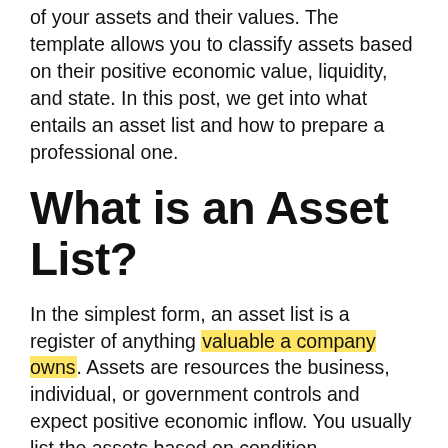of your assets and their values. The template allows you to classify assets based on their positive economic value, liquidity, and state. In this post, we get into what entails an asset list and how to prepare a professional one.
What is an Asset List?
In the simplest form, an asset list is a register of anything valuable a company owns. Assets are resources the business, individual, or government controls and expect positive economic inflow. You usually list the assets based on condition, ownership, location, historical cost, and current valuation in an asset list.
Asset Lists for a business usually go on the